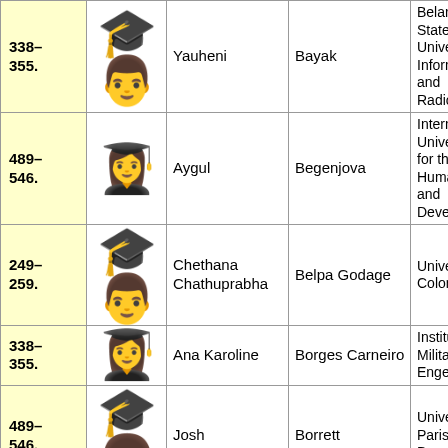| Pages | Avatar | First Name | Last Name | University |
| --- | --- | --- | --- | --- |
| 338–355. | emoji:male-student | Yauheni | Bayak | Belarusian State University of Informatics and Radioelectronics |
| 489–546. | emoji:female-student-blonde | Aygul | Begenjova | International University for the Humanities and Development |
| 249–259. | emoji:male-student | Chethana Chathuprabha | Belpa Godage | University of Colombo |
| 338–355. | emoji:female-student-blonde | Ana Karoline | Borges Carneiro | Instituto Militar de Engenharia |
| 489–546. | emoji:male-student-dark | Josh | Borrett | Université Paris-Dauphine |
| 293–312. | emoji:male-student | Felipe | Buzato França Costa | École Polytechnique |
| 338–355. | emoji:male-student-asian | Lluis | Carmona | University of Barcelona |
| 436– | photo | Math... | Carneiro Leão | Universidade Federal... |